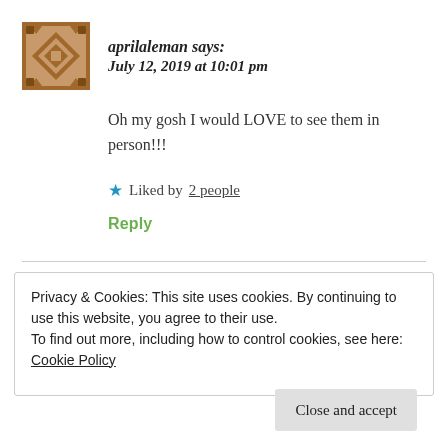aprilaleman says:
July 12, 2019 at 10:01 pm
Oh my gosh I would LOVE to see them in person!!!
★ Liked by 2 people
Reply
Privacy & Cookies: This site uses cookies. By continuing to use this website, you agree to their use.
To find out more, including how to control cookies, see here: Cookie Policy
Close and accept